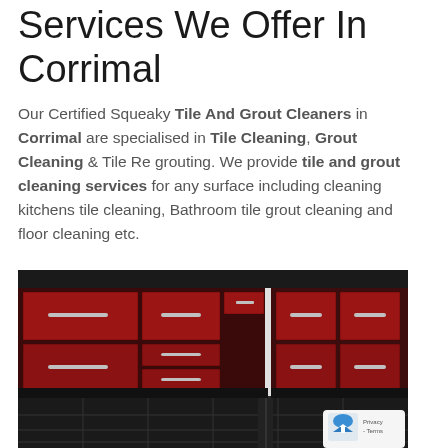Services We Offer In Corrimal
Our Certified Squeaky Tile And Grout Cleaners in Corrimal are specialised in Tile Cleaning, Grout Cleaning & Tile Re grouting. We provide tile and grout cleaning services for any surface including cleaning kitchens tile cleaning, Bathroom tile grout cleaning and floor cleaning etc.
[Figure (photo): Photo of a modern kitchen with red/dark-red glossy cabinet doors and drawers with silver handles, black granite tile floor, corner kitchen layout viewed from inside.]